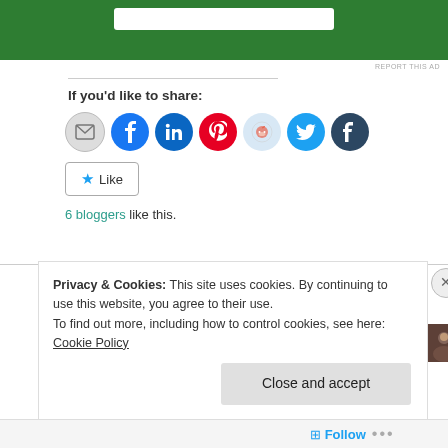[Figure (screenshot): Green advertisement banner at top of page with white input bar]
REPORT THIS AD
If you'd like to share:
[Figure (infographic): Row of social sharing icon buttons: email, Facebook, LinkedIn, Pinterest, Reddit, Twitter, Tumblr]
[Figure (infographic): Like button with star and 6 blogger profile thumbnail photos]
6 bloggers like this.
Privacy & Cookies: This site uses cookies. By continuing to use this website, you agree to their use.
To find out more, including how to control cookies, see here: Cookie Policy
Close and accept
Follow